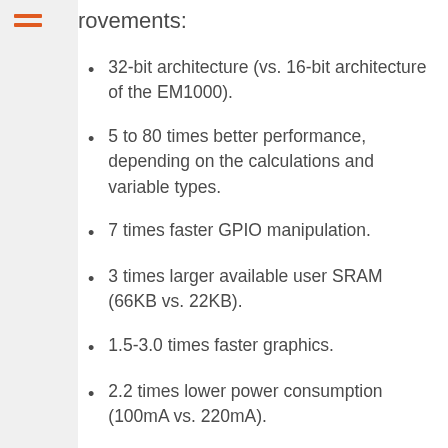provements:
32-bit architecture (vs. 16-bit architecture of the EM1000).
5 to 80 times better performance, depending on the calculations and variable types.
7 times faster GPIO manipulation.
3 times larger available user SRAM (66KB vs. 22KB).
1.5-3.0 times faster graphics.
2.2 times lower power consumption (100mA vs. 220mA).
2 times larger flash memory (1MB for TiOS/code + 1MB for the file system vs. 1MB total for TiOS, code, and file system).